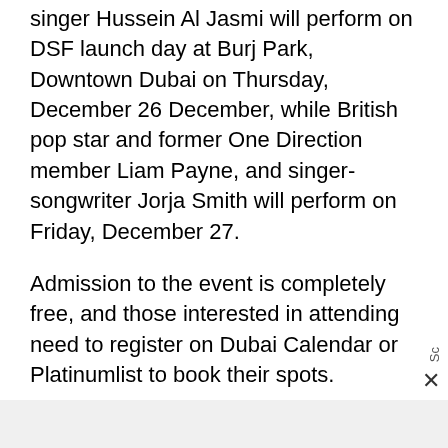singer Hussein Al Jasmi will perform on DSF launch day at Burj Park, Downtown Dubai on Thursday, December 26 December, while British pop star and former One Direction member Liam Payne, and singer-songwriter Jorja Smith will perform on Friday, December 27.
Admission to the event is completely free, and those interested in attending need to register on Dubai Calendar or Platinumlist to book their spots.
Ticket holders will receive a QR code by email which will be scanned upon arrival and exchanged for a wristband. Entrance will be on a first come first served basis.